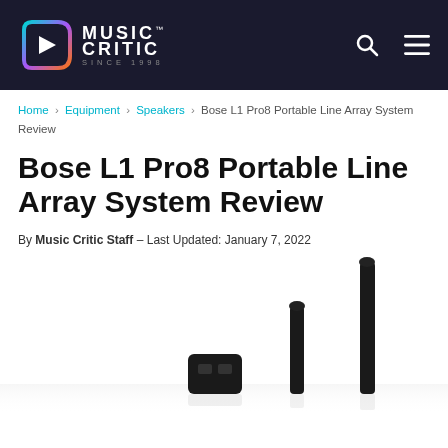MUSIC CRITIC™ SINCE 1998
Home › Equipment › Speakers › Bose L1 Pro8 Portable Line Array System Review
Bose L1 Pro8 Portable Line Array System Review
By Music Critic Staff – Last Updated: January 7, 2022
[Figure (photo): Photo of Bose L1 Pro8 portable line array system components laid out against a white background, showing the base unit and speaker pole sections of varying heights in black.]